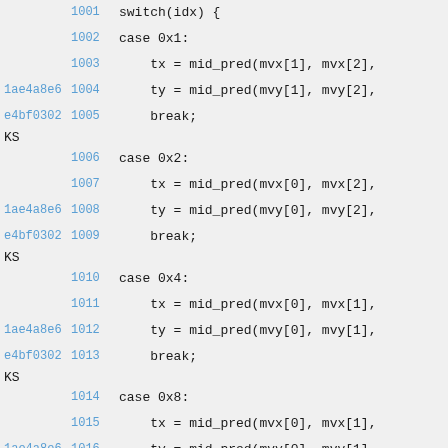[Figure (screenshot): Source code viewer showing lines 1001-1016 of a C/C++ file with git blame annotations. Lines show a switch statement with cases 0x1, 0x2, 0x4, and 0x8, each computing tx and ty using mid_pred function calls and ending with break statements. Left columns show commit hashes (1ae4a8e6, e4bf0302) and line numbers in blue, with 'KS' annotations.]